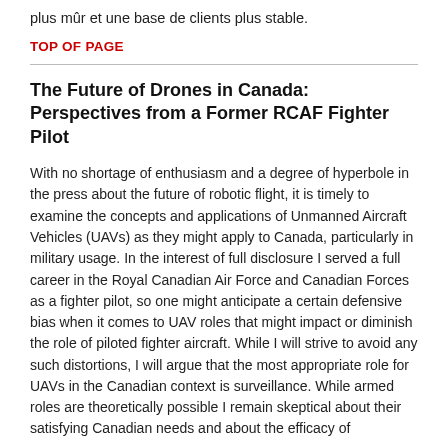plus mûr et une base de clients plus stable.
TOP OF PAGE
The Future of Drones in Canada: Perspectives from a Former RCAF Fighter Pilot
With no shortage of enthusiasm and a degree of hyperbole in the press about the future of robotic flight, it is timely to examine the concepts and applications of Unmanned Aircraft Vehicles (UAVs) as they might apply to Canada, particularly in military usage. In the interest of full disclosure I served a full career in the Royal Canadian Air Force and Canadian Forces as a fighter pilot, so one might anticipate a certain defensive bias when it comes to UAV roles that might impact or diminish the role of piloted fighter aircraft. While I will strive to avoid any such distortions, I will argue that the most appropriate role for UAVs in the Canadian context is surveillance. While armed roles are theoretically possible I remain skeptical about their satisfying Canadian needs and about the efficacy of